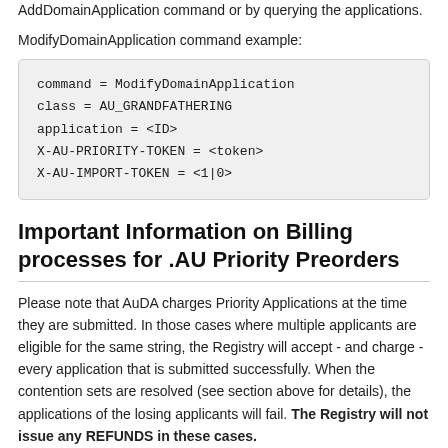AddDomainApplication command or by querying the applications.
ModifyDomainApplication command example:
command = ModifyDomainApplication
class = AU_GRANDFATHERING
application = <ID>
X-AU-PRIORITY-TOKEN = <token>
X-AU-IMPORT-TOKEN = <1|0>
Important Information on Billing processes for .AU Priority Preorders
Please note that AuDA charges Priority Applications at the time they are submitted. In those cases where multiple applicants are eligible for the same string, the Registry will accept - and charge - every application that is submitted successfully. When the contention sets are resolved (see section above for details), the applications of the losing applicants will fail. The Registry will not issue any REFUNDS in these cases.
If, however, HEXONET is unable to submit a priority application successfully (due to errors in the data provided,